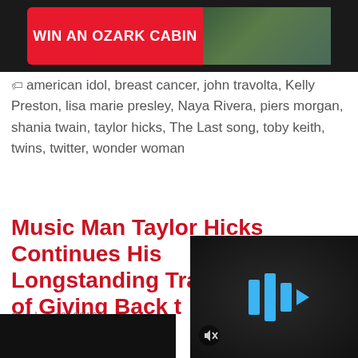[Figure (screenshot): Advertisement banner: 'WIN AN OZARK CABIN' in white text on red button, with a cabin/building photo on the right, on dark background]
american idol, breast cancer, john travolta, Kelly Preston, lisa marie presley, Naya Rivera, piers morgan, shania twain, taylor hicks, The Last song, toby keith, twins, twitter, wonder woman
Music Man Taylor Hicks Continues His Longstanding Tradition of Giving Back t
October 10, 2019 by
[Figure (screenshot): Video player thumbnail showing dark background with blue play button icon (bars/triangles), and a mute icon in bottom left]